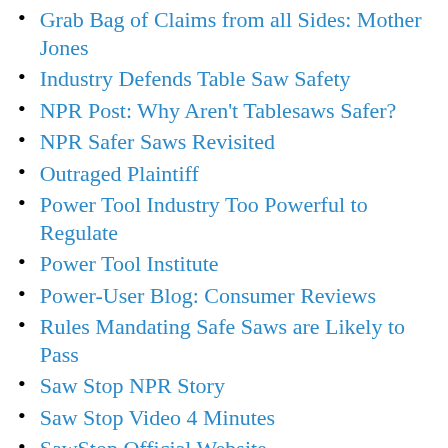Grab Bag of Claims from all Sides: Mother Jones
Industry Defends Table Saw Safety
NPR Post: Why Aren't Tablesaws Safer?
NPR Safer Saws Revisited
Outraged Plaintiff
Power Tool Industry Too Powerful to Regulate
Power Tool Institute
Power-User Blog: Consumer Reviews
Rules Mandating Safe Saws are Likely to Pass
Saw Stop NPR Story
Saw Stop Video 4 Minutes
SawStop Official Website
SawStop vs Reaxx Lawsuit Not Over Yet
Steve Gass's Finger
Table Saw Amputation Lawsuit